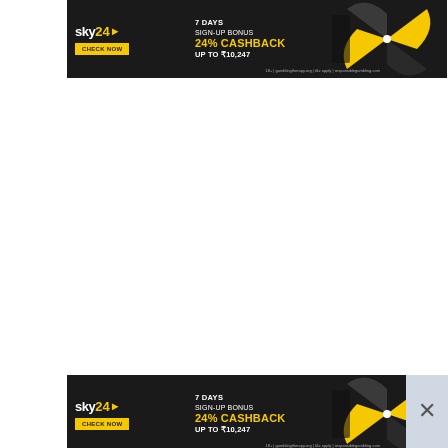[Figure (photo): Sky24 advertisement banner (top): dark background with Sky24 logo, '7 DAYS SIGN-UP BONUS 24% CASHBACK UP TO ₹10,247' text, CHECK NOW yellow button, and decorative pinwheel/kite graphic on right side.]
[Figure (photo): Sky24 advertisement banner (bottom, repeated): same as top banner with Sky24 logo, '7 DAYS SIGN-UP BONUS 24% CASHBACK UP TO ₹10,247', CHECK NOW button, pinwheel graphic, and a close (X) button overlay on the right.]